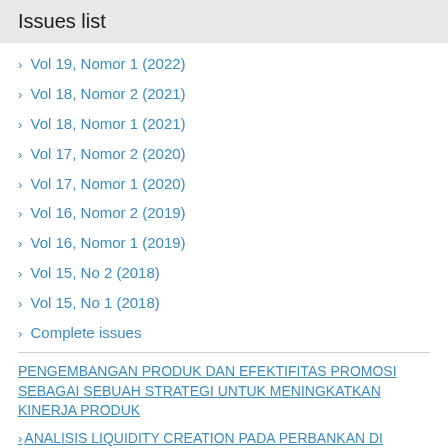Issues list
> Vol 19, Nomor 1 (2022)
> Vol 18, Nomor 2 (2021)
> Vol 18, Nomor 1 (2021)
> Vol 17, Nomor 2 (2020)
> Vol 17, Nomor 1 (2020)
> Vol 16, Nomor 2 (2019)
> Vol 16, Nomor 1 (2019)
> Vol 15, No 2 (2018)
> Vol 15, No 1 (2018)
> Complete issues
PENGEMBANGAN PRODUK DAN EFEKTIFITAS PROMOSI SEBAGAI SEBUAH STRATEGI UNTUK MENINGKATKAN KINERJA PRODUK
> ANALISIS LIQUIDITY CREATION PADA PERBANKAN DI INDONESIA TAHUN 2007-2013 (STUDI KASUS PADA 10 BANK BESAR DI INDONESIA TAHUN 2013)
> ANALISIS FAKTOR-FAKTOR ORIENTASI PASAR YANG